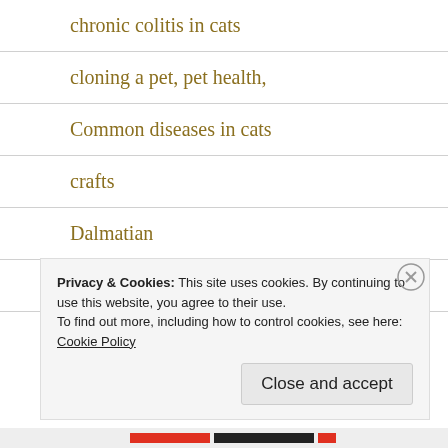chronic colitis in cats
cloning a pet, pet health,
Common diseases in cats
crafts
Dalmatian
diarrhea in dogs and cats
Privacy & Cookies: This site uses cookies. By continuing to use this website, you agree to their use.
To find out more, including how to control cookies, see here: Cookie Policy
Close and accept